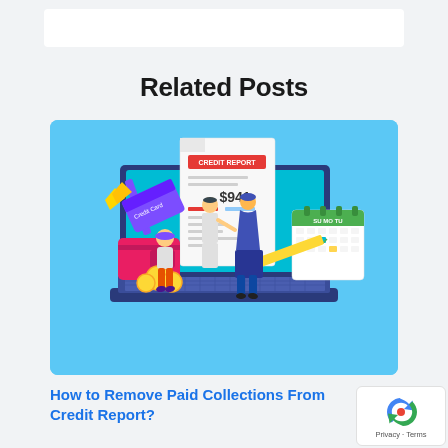Related Posts
[Figure (illustration): Illustration of a laptop showing a credit report document with $941, credit cards, coins, a wallet, two people, and a calendar — on a light blue background]
How to Remove Paid Collections From Credit Report?